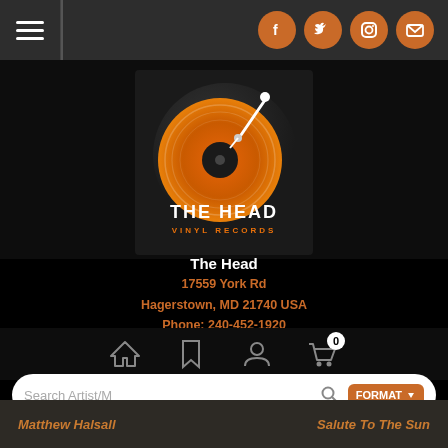Navigation bar with hamburger menu and social icons (Facebook, Twitter, Instagram, Email)
[Figure (logo): The Head Vinyl Records logo — orange vinyl record with tonearm, text 'THE HEAD VINYL RECORDS']
The Head
17559 York Rd
Hagerstown, MD 21740 USA
Phone: 240-452-1920
[Figure (screenshot): Navigation icon row: home, bookmark, person, and shopping cart with badge showing 0]
[Figure (screenshot): Search bar with placeholder 'Search Artist/M', magnifier icon, and FORMAT dropdown button]
[Figure (screenshot): Orange back-to-top button with upward chevron arrow]
Matthew Halsall
Salute To The Sun